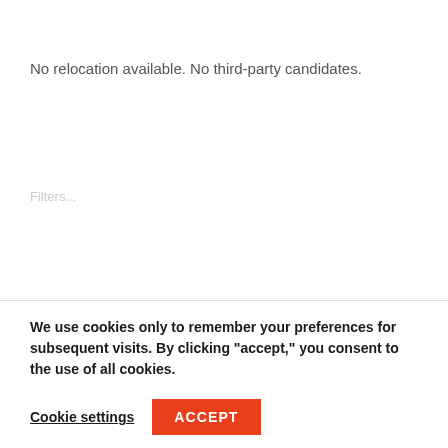No relocation available. No third-party candidates.
Filters...
We use cookies only to remember your preferences for subsequent visits. By clicking “accept,” you consent to the use of all cookies.
Cookie settings
ACCEPT